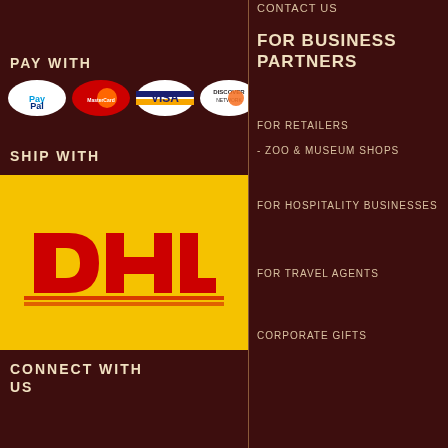CONTACT US
PAY WITH
[Figure (logo): Payment method logos: PayPal, MasterCard, Visa, Discover]
SHIP WITH
[Figure (logo): DHL shipping logo on yellow background]
CONNECT WITH US
FOR BUSINESS PARTNERS
FOR RETAILERS
- ZOO & MUSEUM SHOPS
FOR HOSPITALITY BUSINESSES
FOR TRAVEL AGENTS
CORPORATE GIFTS